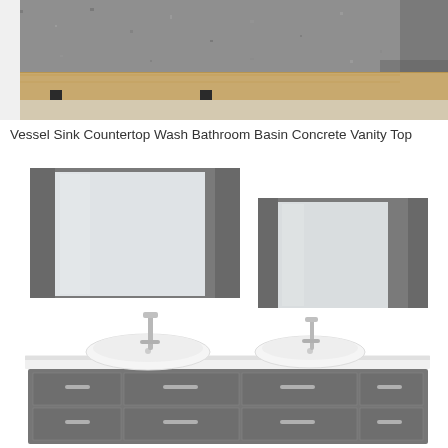[Figure (photo): Close-up photo of a concrete vanity countertop with a wooden edge, showing grey textured stone surface on a light wood base with black metal legs visible.]
Vessel Sink Countertop Wash Bathroom Basin Concrete Vanity Top
[Figure (photo): Product photo of a modern double bathroom vanity set with two grey wall-mounted medicine cabinets with mirror fronts above, and a long grey floating vanity cabinet below with white countertop, two white vessel sinks, and two chrome faucets.]